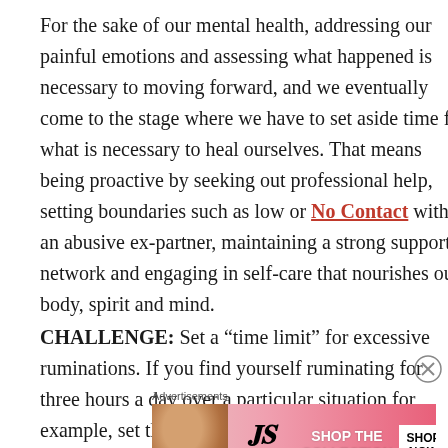For the sake of our mental health, addressing our painful emotions and assessing what happened is necessary to moving forward, and we eventually come to the stage where we have to set aside time for what is necessary to heal ourselves. That means being proactive by seeking out professional help, setting boundaries such as low or No Contact with an abusive ex-partner, maintaining a strong support network and engaging in self-care that nourishes our body, spirit and mind.
CHALLENGE: Set a “time limit” for excessive ruminations. If you find yourself ruminating for three hours a day over a particular situation for example, set the time limit to one hour and then spend the rest of the time
[Figure (other): Victoria's Secret advertisement banner showing a woman's face, VS logo, 'SHOP THE COLLECTION' text in white on pink background, and a white 'SHOP NOW' button]